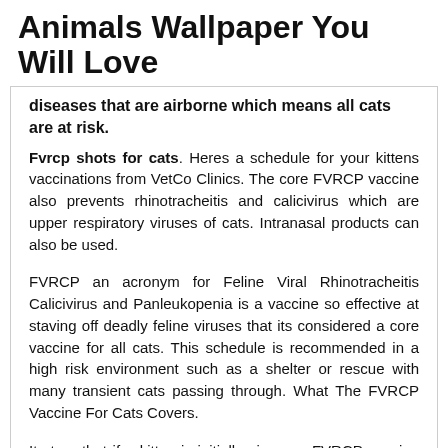Animals Wallpaper You Will Love
diseases that are airborne which means all cats are at risk.
Fvrcp shots for cats. Heres a schedule for your kittens vaccinations from VetCo Clinics. The core FVRCP vaccine also prevents rhinotracheitis and calicivirus which are upper respiratory viruses of cats. Intranasal products can also be used.
FVRCP an acronym for Feline Viral Rhinotracheitis Calicivirus and Panleukopenia is a vaccine so effective at staving off deadly feline viruses that its considered a core vaccine for all cats. This schedule is recommended in a high risk environment such as a shelter or rescue with many transient cats passing through. What The FVRCP Vaccine For Cats Covers.
Its true that if a kitten is initially given an FVRCP vaccine at 4 weeks of age and gets re-vaccinated every 2-3 weeks then they could receive up to 9 vaccines by 20 weeks of